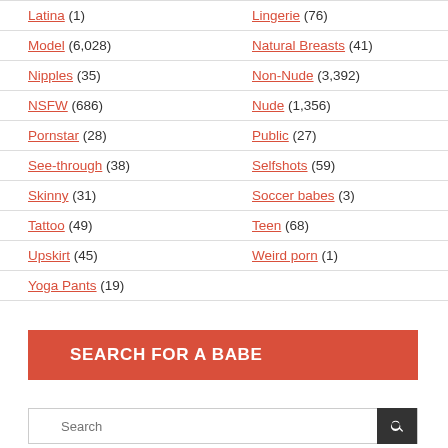Latina (1) | Lingerie (76)
Model (6,028) | Natural Breasts (41)
Nipples (35) | Non-Nude (3,392)
NSFW (686) | Nude (1,356)
Pornstar (28) | Public (27)
See-through (38) | Selfshots (59)
Skinny (31) | Soccer babes (3)
Tattoo (49) | Teen (68)
Upskirt (45) | Weird porn (1)
Yoga Pants (19)
SEARCH FOR A BABE
Search